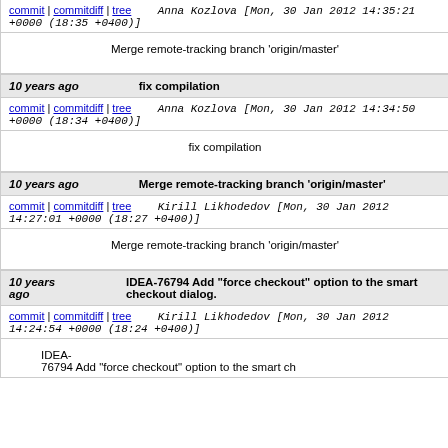commit | commitdiff | tree   Anna Kozlova [Mon, 30 Jan 2012 14:35:21 +0000 (18:35 +0400)]
Merge remote-tracking branch 'origin/master'
10 years ago   fix compilation
commit | commitdiff | tree   Anna Kozlova [Mon, 30 Jan 2012 14:34:50 +0000 (18:34 +0400)]
fix compilation
10 years ago   Merge remote-tracking branch 'origin/master'
commit | commitdiff | tree   Kirill Likhodedov [Mon, 30 Jan 2012 14:27:01 +0000 (18:27 +0400)]
Merge remote-tracking branch 'origin/master'
10 years ago   IDEA-76794 Add "force checkout" option to the smart checkout dialog.
commit | commitdiff | tree   Kirill Likhodedov [Mon, 30 Jan 2012 14:24:54 +0000 (18:24 +0400)]
IDEA-76794 Add "force checkout" option to the smart ch